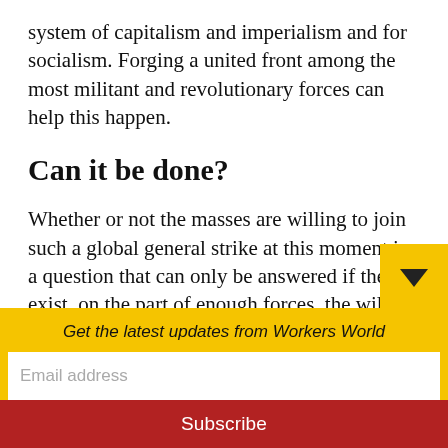system of capitalism and imperialism and for socialism. Forging a united front among the most militant and revolutionary forces can help this happen.
Can it be done?
Whether or not the masses are willing to join such a global general strike at this moment is a question that can only be answered if there exist, on the part of enough forces, the will and commitment to fight for it.  What is beyond question is the objective political
Get the latest updates from Workers World
Email address
Subscribe